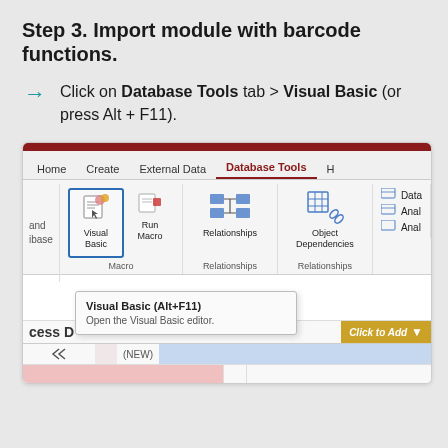Step 3. Import module with barcode functions.
Click on Database Tools tab > Visual Basic (or press Alt + F11).
[Figure (screenshot): Screenshot of Microsoft Access ribbon showing the Database Tools tab with Visual Basic button highlighted in a blue border. A tooltip reads 'Visual Basic (Alt+F11)' and 'Open the Visual Basic editor.' The bottom shows a datasheet with a pink row and a 'Click to Add' button in gold.]